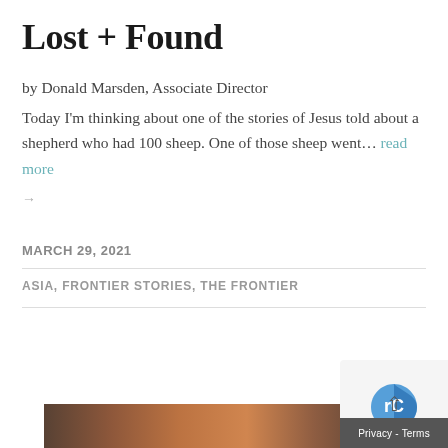Lost + Found
by Donald Marsden, Associate Director
Today I'm thinking about one of the stories of Jesus told about a shepherd who had 100 sheep. One of those sheep went… read more →
MARCH 29, 2021
ASIA, FRONTIER STORIES, THE FRONTIER
[Figure (photo): Partially visible photo at bottom of page showing warm-toned scene with reddish-brown tones, likely people or a market scene]